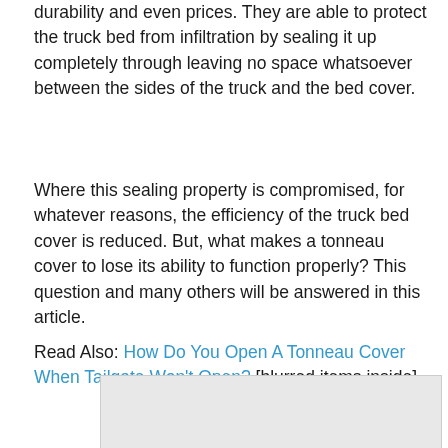...durability and even prices. They are able to protect the truck bed from infiltration by sealing it up completely through leaving no space whatsoever between the sides of the truck and the bed cover.
Where this sealing property is compromised, for whatever reasons, the efficiency of the truck bed cover is reduced. But, what makes a tonneau cover to lose its ability to function properly? This question and many others will be answered in this article.
Read Also: How Do You Open A Tonneau Cover When Tailgate Won't Open? [blurred ad content inside]
[Figure (other): Advertisement or promotional box with an X close button, light grey background, partially obscuring content below the Read Also link.]